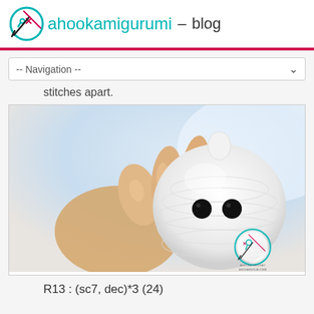ahookamigurumi - blog
-- Navigation --
stitches apart.
[Figure (photo): A hand holding a small white crocheted amigurumi ghost figure with two black button eyes. The ghost has a rounded head shape made of white yarn with textured crochet stitches. An Ahooka Crochet logo watermark is visible in the bottom right corner.]
R13 : (sc7, dec)*3 (24)